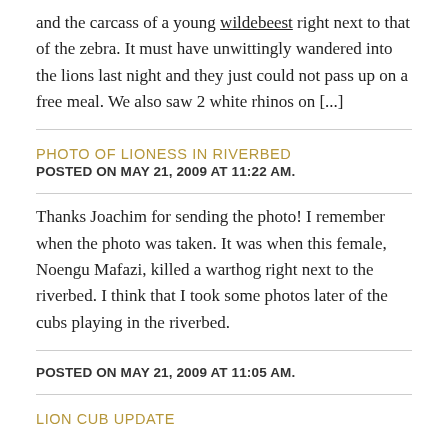and the carcass of a young wildebeest right next to that of the zebra. It must have unwittingly wandered into the lions last night and they just could not pass up on a free meal. We also saw 2 white rhinos on [...]
PHOTO OF LIONESS IN RIVERBED
POSTED ON MAY 21, 2009 AT 11:22 AM.
Thanks Joachim for sending the photo! I remember when the photo was taken. It was when this female, Noengu Mafazi, killed a warthog right next to the riverbed. I think that I took some photos later of the cubs playing in the riverbed.
POSTED ON MAY 21, 2009 AT 11:05 AM.
LION CUB UPDATE